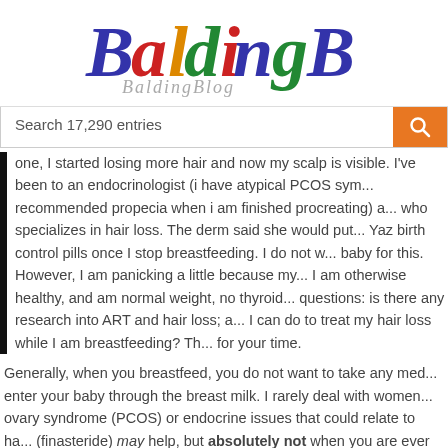[Figure (logo): BaldingBlog colorful logo with shadow text underneath]
Search 17,290 entries
one, I started losing more hair and now my scalp is visible. I've been to an endocrinologist (i have atypical PCOS symptoms, recommended propecia when i am finished procreating) and a derm who specializes in hair loss. The derm said she would put me on Yaz birth control pills once I stop breastfeeding. I do not want baby for this. However, I am panicking a little because my... I am otherwise healthy, and am normal weight, no thyroid... questions: is there any research into ART and hair loss; and what I can do to treat my hair loss while I am breastfeeding? Thank you for your time.
Generally, when you breastfeed, you do not want to take any medications that enter your baby through the breast milk. I rarely deal with women with polycystic ovary syndrome (PCOS) or endocrine issues that could relate to hair loss. Propecia (finasteride) may help, but absolutely not when you are ever going to...